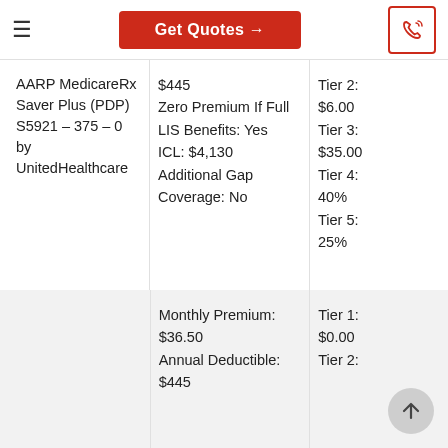Get Quotes →
| Plan | Details | Tiers |
| --- | --- | --- |
| AARP MedicareRx Saver Plus (PDP) S5921 – 375 – 0 by UnitedHealthcare | $445
Zero Premium If Full LIS Benefits: Yes
ICL: $4,130
Additional Gap Coverage: No | Tier 2: $6.00
Tier 3: $35.00
Tier 4: 40%
Tier 5: 25% |
|  | Monthly Premium: $36.50
Annual Deductible: $445 | Tier 1: $0.00
Tier 2: |